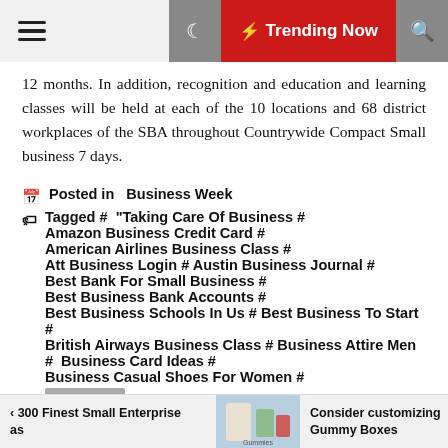☰ 🌙 ⚡ Trending Now 🔍
12 months. In addition, recognition and education and learning classes will be held at each of the 10 locations and 68 district workplaces of the SBA throughout Countrywide Compact Small business 7 days.
Posted in  Business Week
Tagged #  "Taking Care Of Business #  Amazon Business Credit Card #  American Airlines Business Class #  Att Business Login #  Austin Business Journal #  Best Bank For Small Business #  Best Business Bank Accounts #  Best Business Schools In Us #  Best Business To Start #  British Airways Business Class #  Business Attire Men #  Business Card Ideas #  Business Casual Shoes For Women #
‹ 300 Finest Small Enterprise as    Consider customizing Gummy Boxes